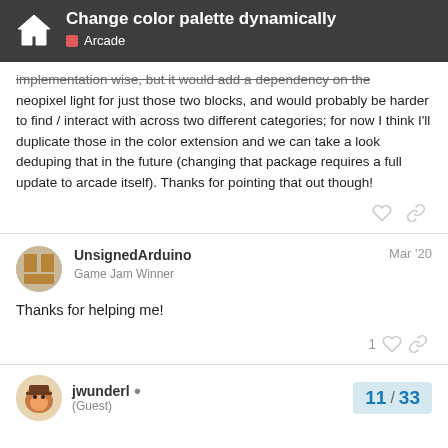Change color palette dynamically — Arcade
implementation wise, but it would add a dependency on the neopixel light for just those two blocks, and would probably be harder to find / interact with across two different categories; for now I think I'll duplicate those in the color extension and we can take a look deduping that in the future (changing that package requires a full update to arcade itself). Thanks for pointing that out though!
UnsignedArduino — Game Jam Winner — Mar '20
Thanks for helping me!
jwunderl (Guest) — 11 / 33